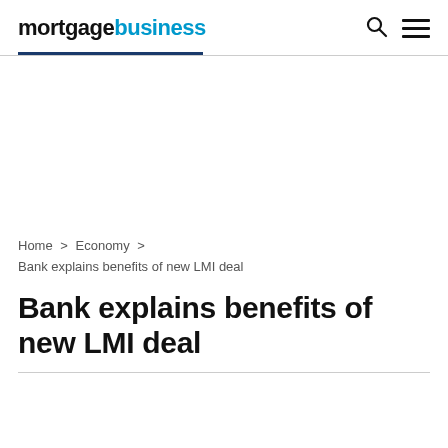mortgagebusiness
Home > Economy > Bank explains benefits of new LMI deal
Bank explains benefits of new LMI deal